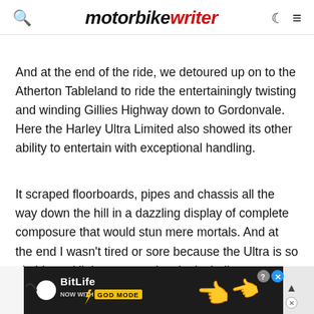motorbike writer
And at the end of the ride, we detoured up on to the Atherton Tableland to ride the entertainingly twisting and winding Gillies Highway down to Gordonvale. Here the Harley Ultra Limited also showed its other ability to entertain with exceptional handling.
It scraped floorboards, pipes and chassis all the way down the hill in a dazzling display of complete composure that would stun mere mortals. And at the end I wasn't tired or sore because the Ultra is so nimble and light to steer, despite its bulk.
They t... long, h...
[Figure (screenshot): BitLife advertisement banner at the bottom of the page, showing 'BitLife NOW WITH GOD MODE' with hand/pointing finger graphic]